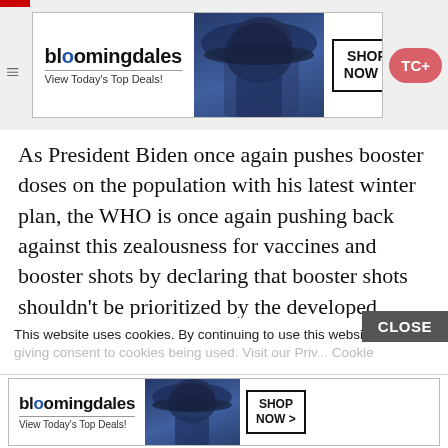[Figure (screenshot): Bloomingdale's advertisement banner: logo, 'View Today's Top Deals!', model in hat, 'SHOP NOW >' button]
As President Biden once again pushes booster doses on the population with his latest winter plan, the WHO is once again pushing back against this zealousness for vaccines and booster shots by declaring that booster shots shouldn't be prioritized by the developed governments that control the vaccine supply. Instead, the US and other developed nations should focus on allowing drugmakers like Pfizer and Moderna to distribute more shots in the developing world, because hoarding boosters and focusing primarily on their
This website uses cookies. By continuing to use this website you are giving consent to cookies being used. Visit our Priv... Cookie
[Figure (screenshot): Bloomingdale's advertisement banner (bottom): logo, 'View Today's Top Deals!', model in hat, 'SHOP NOW >' button]